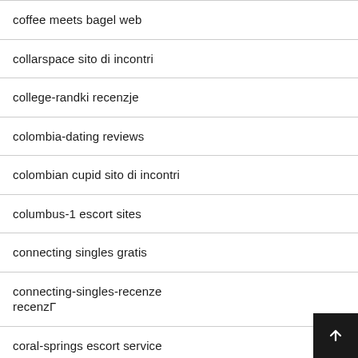coffee meets bagel web
collarspace sito di incontri
college-randki recenzje
colombia-dating reviews
colombian cupid sito di incontri
columbus-1 escort sites
connecting singles gratis
connecting-singles-recenze recenzΓ
coral-springs escort service
corona escort service